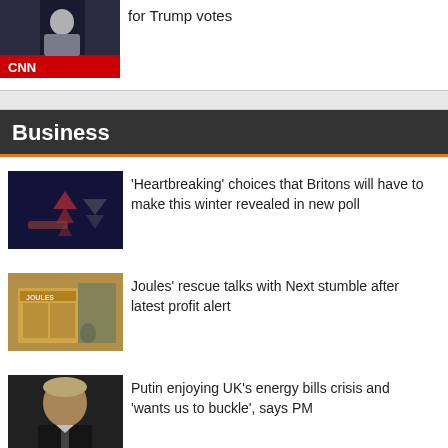[Figure (photo): CNN news screenshot with anchor]
for Trump votes
Business
[Figure (photo): Arrows graphic illustrating rising costs]
'Heartbreaking' choices that Britons will have to make this winter revealed in new poll
[Figure (photo): Joules clothing store exterior]
Joules' rescue talks with Next stumble after latest profit alert
[Figure (photo): Boris Johnson close-up portrait]
Putin enjoying UK's energy bills crisis and 'wants us to buckle', says PM